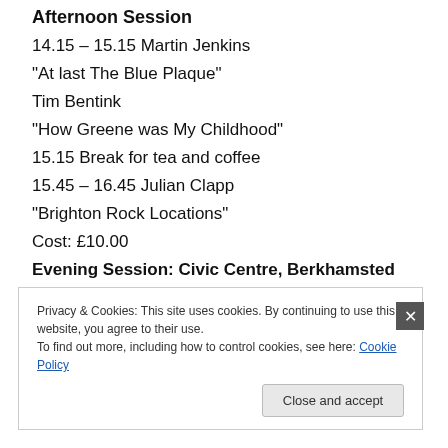Afternoon Session
14.15 – 15.15 Martin Jenkins
“At last The Blue Plaque”
Tim Bentink
“How Greene was My Childhood”
15.15 Break for tea and coffee
15.45 – 16.45 Julian Clapp
“Brighton Rock Locations”
Cost: £10.00
Evening Session: Civic Centre, Berkhamsted
19.30 – 22.00 Film: Brighton Rock (1947)
Privacy & Cookies: This site uses cookies. By continuing to use this website, you agree to their use.
To find out more, including how to control cookies, see here: Cookie Policy